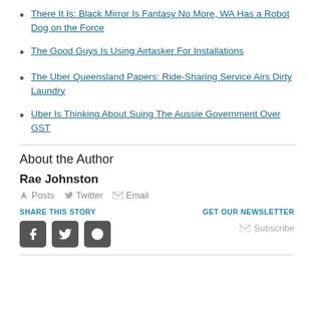There It Is: Black Mirror Is Fantasy No More, WA Has a Robot Dog on the Force
The Good Guys Is Using Airtasker For Installations
The Uber Queensland Papers: Ride-Sharing Service Airs Dirty Laundry
Uber Is Thinking About Suing The Aussie Government Over GST
About the Author
Rae Johnston
Posts  Twitter  Email
SHARE THIS STORY
GET OUR NEWSLETTER
Subscribe